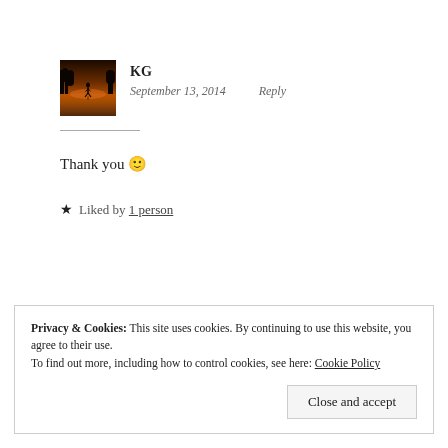[Figure (photo): Avatar photo of user KG — a person walking on a reflective surface at sunset/dusk, dark silhouette against golden-orange sky.]
KG
September 13, 2014   Reply
Thank you 🙂
★ Liked by 1 person
Privacy & Cookies: This site uses cookies. By continuing to use this website, you agree to their use.
To find out more, including how to control cookies, see here: Cookie Policy
Close and accept